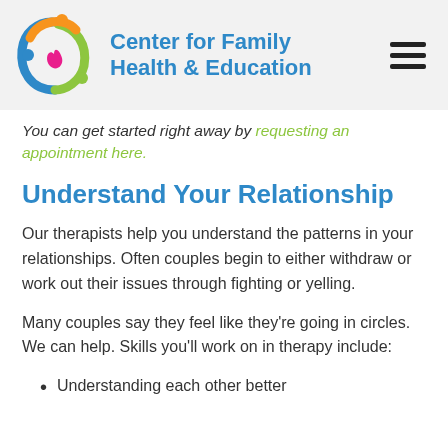Center for Family Health & Education
You can get started right away by requesting an appointment here.
Understand Your Relationship
Our therapists help you understand the patterns in your relationships. Often couples begin to either withdraw or work out their issues through fighting or yelling.
Many couples say they feel like they're going in circles. We can help. Skills you'll work on in therapy include:
Understanding each other better